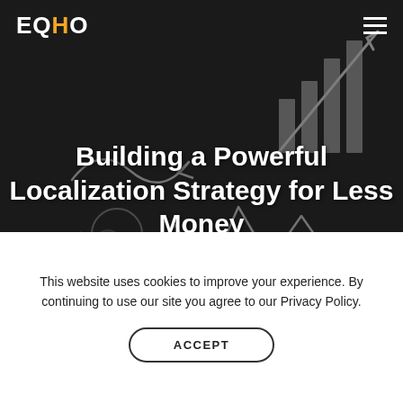[Figure (illustration): Dark hero background with chalk-style business doodles: bar chart with upward arrow, line graph, geometric shapes, dollar signs, and mathematical symbols drawn on a blackboard-style dark surface.]
EQHO  ≡
Building a Powerful Localization Strategy for Less Money
101 GUIDES  TRANSLATION & LOCALIZATION
This website uses cookies to improve your experience. By continuing to use our site you agree to our Privacy Policy.
ACCEPT